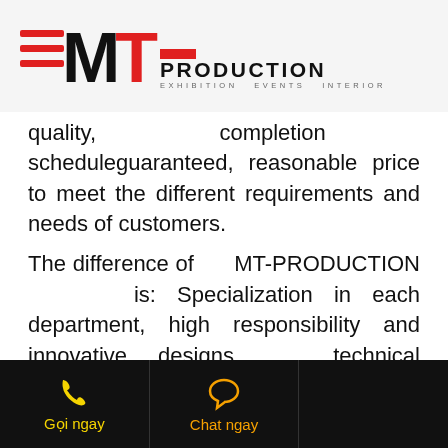MT-PRODUCTION — Exhibition Events Interior
quality, completion scheduleguaranteed, reasonable price to meet the different requirements and needs of customers.
The difference of MT-PRODUCTION is: Specialization in each department, high responsibility and innovative designs, technical supervision and skilled workers work seriously, carefully, in order to create products that exactly what customers expect and more..
MT-PRODUCTION always listens to suggestions from customers to change and improve services constantly, with the desire to serve customers better and better. With the guideline that customers are the creators of the
Gọi ngay | Chat ngay